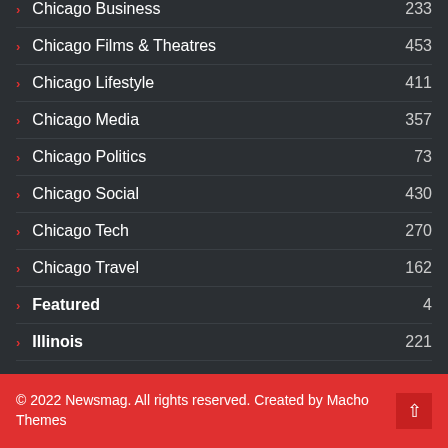Chicago Business 233
Chicago Films & Theatres 453
Chicago Lifestyle 411
Chicago Media 357
Chicago Politics 73
Chicago Social 430
Chicago Tech 270
Chicago Travel 162
Featured 4
Illinois 221
© 2022 Newsmag. All rights reserved. Created by Macho Themes